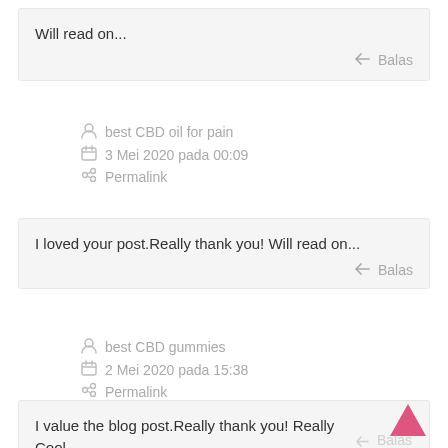Will read on...
↩ Balas
👤 best CBD oil for pain
📅 3 Mei 2020 pada 00:09
🔗 Permalink
I loved your post.Really thank you! Will read on...
↩ Balas
👤 best CBD gummies
📅 2 Mei 2020 pada 15:38
🔗 Permalink
I value the blog post.Really thank you! Really Cool.
↩ Balas